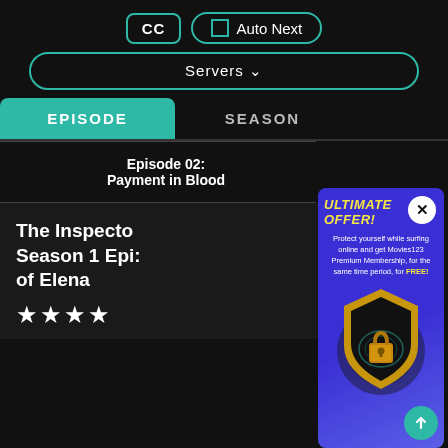[Figure (screenshot): Video streaming website UI with CC button, Auto Next toggle, Servers dropdown, EPISODE/SEASON tabs, episode list, and a popup ad overlay saying ULTIMATE OFFER! for Movies123 Premium Membership with a shield/padlock graphic.]